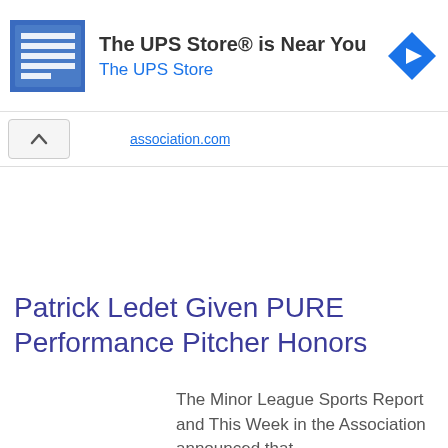[Figure (screenshot): UPS Store advertisement banner with blue store icon, text 'The UPS Store® is Near You' and blue navigation arrow diamond icon]
Patrick Ledet Given PURE Performance Pitcher Honors
The Minor League Sports Report and This Week in the Association announced that